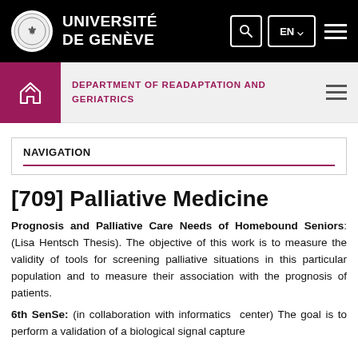UNIVERSITÉ DE GENÈVE
DEPARTMENT OF READAPTATION AND GERIATRICS
NAVIGATION
[709] Palliative Medicine
Prognosis and Palliative Care Needs of Homebound Seniors: (Lisa Hentsch Thesis). The objective of this work is to measure the validity of tools for screening palliative situations in this particular population and to measure their association with the prognosis of patients.
6th SenSe: (in collaboration with informatics center) The goal is to perform a validation of a biological signal capture